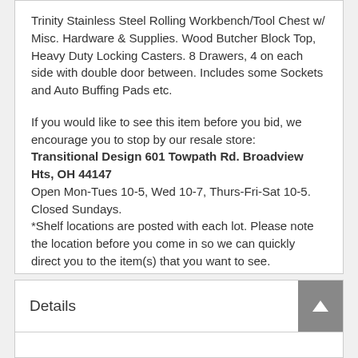Trinity Stainless Steel Rolling Workbench/Tool Chest w/ Misc. Hardware & Supplies. Wood Butcher Block Top, Heavy Duty Locking Casters. 8 Drawers, 4 on each side with double door between. Includes some Sockets and Auto Buffing Pads etc.
If you would like to see this item before you bid, we encourage you to stop by our resale store: Transitional Design 601 Towpath Rd. Broadview Hts, OH 44147
Open Mon-Tues 10-5, Wed 10-7, Thurs-Fri-Sat 10-5. Closed Sundays.
*Shelf locations are posted with each lot. Please note the location before you come in so we can quickly direct you to the item(s) that you want to see.
Details